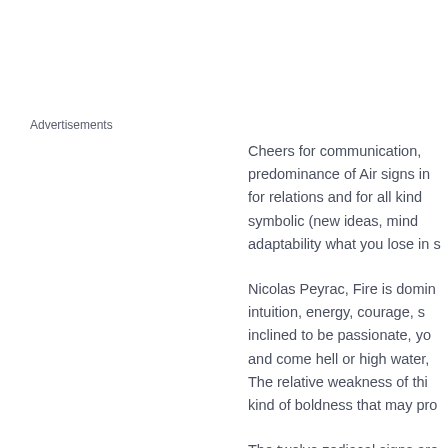Advertisements
Cheers for communication, predominance of Air signs in for relations and for all kind symbolic (new ideas, mind adaptability what you lose in s
Nicolas Peyrac, Fire is domin intuition, energy, courage, s inclined to be passionate, yo and come hell or high water, The relative weakness of this kind of boldness that may pro
The twelve zodiacal signs are quadruplicities, a learned wo include four signs. The Cardi less represented in your nata importance, and on angles in